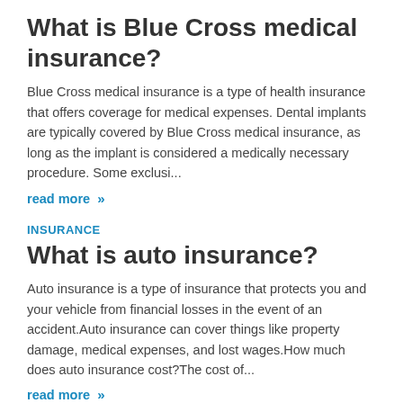What is Blue Cross medical insurance?
Blue Cross medical insurance is a type of health insurance that offers coverage for medical expenses. Dental implants are typically covered by Blue Cross medical insurance, as long as the implant is considered a medically necessary procedure. Some exclusi...
read more »
INSURANCE
What is auto insurance?
Auto insurance is a type of insurance that protects you and your vehicle from financial losses in the event of an accident.Auto insurance can cover things like property damage, medical expenses, and lost wages.How much does auto insurance cost?The cost of...
read more »